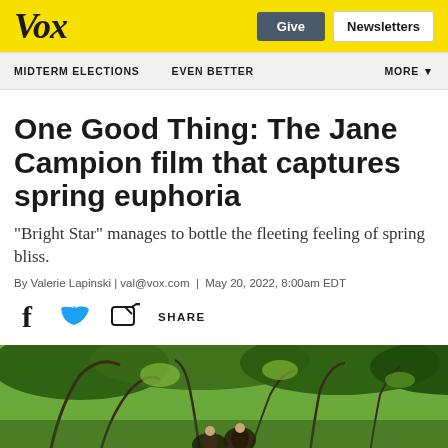Vox
One Good Thing: The Jane Campion film that captures spring euphoria
“Bright Star” manages to bottle the fleeting feeling of spring bliss.
By Valerie Lapinski | val@vox.com | May 20, 2022, 8:00am EDT
[Figure (other): Social share icons: Facebook, Twitter, and a share icon with SHARE text]
[Figure (photo): Scene from the film Bright Star showing figures among lush green spring foliage and tree branches]